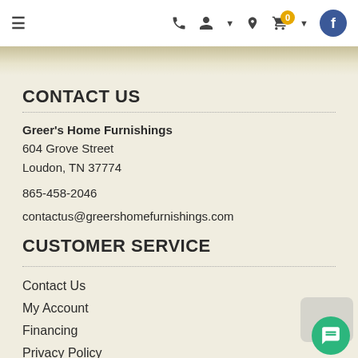≡  📞  👤▾  📍  🛒 0 ▾  f
CONTACT US
Greer's Home Furnishings
604 Grove Street
Loudon, TN 37774
865-458-2046
contactus@greershomefurnishings.com
CUSTOMER SERVICE
Contact Us
My Account
Financing
Privacy Policy
Terms of Service
Accessibility
Site Map